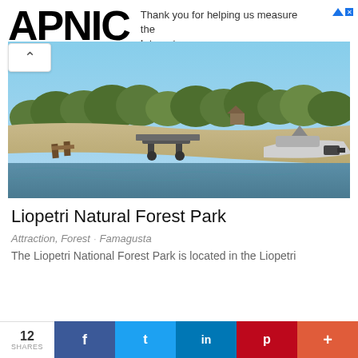APNIC
Thank you for helping us measure the Internet.
[Figure (photo): Riverside scene at Liopetri Natural Forest Park showing a sandy bank with docked boats, wooden pier/ramp, green trees in background, and blue sky. A motorboat is visible on the right side on calm water.]
Liopetri Natural Forest Park
Attraction, Forest · Famagusta
The Liopetri National Forest Park is located in the Liopetri...
12 SHARES  f  t  in  p  +